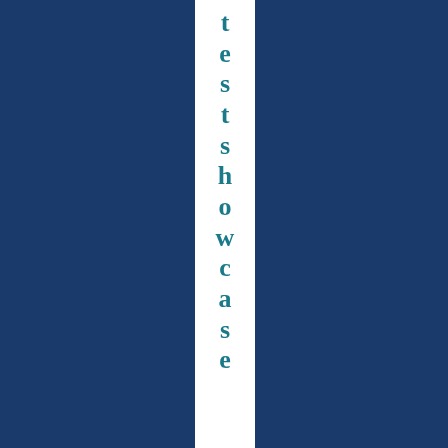[Figure (illustration): Dark navy blue page with a vertical white stripe in the center containing the word 'testshowcase' written vertically top to bottom in bold teal/dark cyan serif font, one letter per line.]